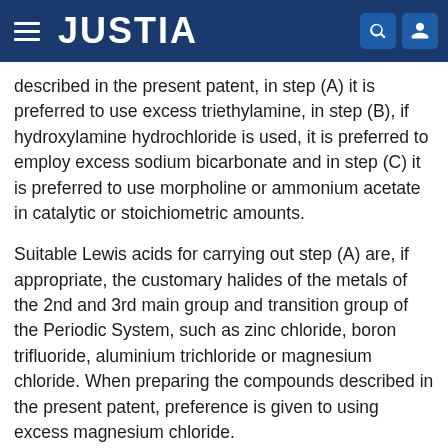JUSTIA
described in the present patent, in step (A) it is preferred to use excess triethylamine, in step (B), if hydroxylamine hydrochloride is used, it is preferred to employ excess sodium bicarbonate and in step (C) it is preferred to use morpholine or ammonium acetate in catalytic or stoichiometric amounts.
Suitable Lewis acids for carrying out step (A) are, if appropriate, the customary halides of the metals of the 2nd and 3rd main group and transition group of the Periodic System, such as zinc chloride, boron trifluoride, aluminium trichloride or magnesium chloride. When preparing the compounds described in the present patent, preference is given to using excess magnesium chloride.
Steps (A) to (C) in the preparation of the compounds